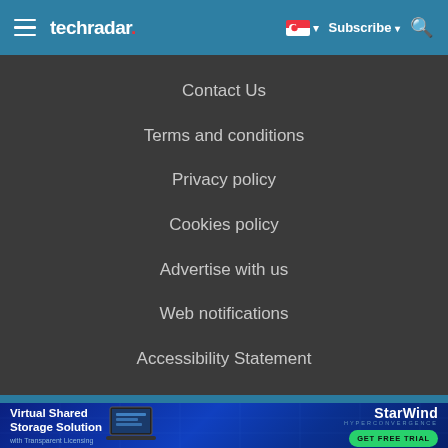techradar
Contact Us
Terms and conditions
Privacy policy
Cookies policy
Advertise with us
Web notifications
Accessibility Statement
[Figure (illustration): StarWind Hyperconvergence advertisement banner: Virtual Shared Storage Solution with Transparent Licensing. Shows a laptop mockup and a green GET FREE TRIAL button.]